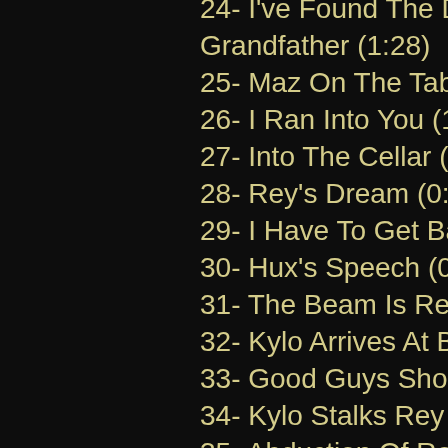24- I've Found The Droid / Grandfather (1:28)
25- Maz On The Table (1:...)
26- I Ran Into You (1:03)
27- Into The Cellar (1:11)
28- Rey's Dream (0:52)
29- I Have To Get Back (...)
30- Hux's Speech (0:55)
31- The Beam Is Released
32- Kylo Arrives At Battle
33- Good Guys Shooting
34- Kylo Stalks Rey (1:05...)
35- Abduction Of Rey (1:...)
36- Han and Leia Reunic... / United (3:11)
37- R2 In Hibernation / P...